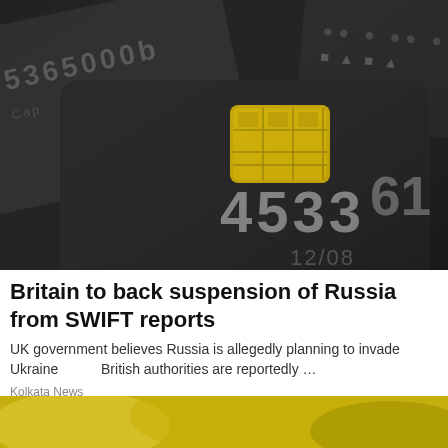[Figure (photo): Close-up photograph of dark/black credit cards stacked, showing embossed numbers including 4533 and partial card number starting with 5365, with a gold EMV chip visible on the front card]
Britain to back suspension of Russia from SWIFT reports
UK government believes Russia is allegedly planning to invade Ukraine          British authorities are reportedly ...
Kolkata News
[Figure (photo): Partial view of another image at the bottom, showing a yellow-green blurred background]